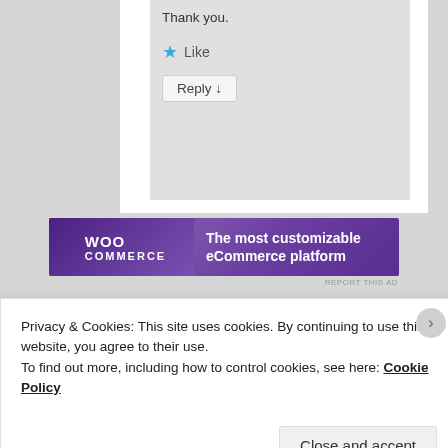Thank you.
★ Like
Reply ↓
[Figure (screenshot): WooCommerce advertisement banner — purple background with WooCommerce logo on left and text 'The most customizable eCommerce platform' on right]
REPORT THIS AD
Privacy & Cookies: This site uses cookies. By continuing to use this website, you agree to their use.
To find out more, including how to control cookies, see here: Cookie Policy
Close and accept